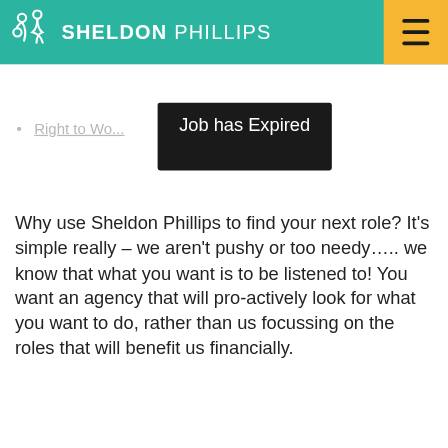[Figure (logo): Sheldon Phillips logo with teal background header, white icon of two figures, bold white text 'SHELDON PHILLIPS', and yellow hamburger menu button on right]
Right to Wo...
Job has Expired
Why use Sheldon Phillips to find your next role? It's simple really – we aren't pushy or too needy….. we know that what you want is to be listened to! You want an agency that will pro-actively look for what you want to do, rather than us focussing on the roles that will benefit us financially.
This website uses cookies to ensure you get the best experience on our...
That's why we have been so successful, because this is YOUR job search, not ours.
Got it!
If you want to know more about this Team